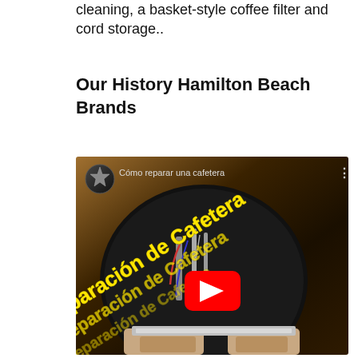cleaning, a basket-style coffee filter and cord storage..
Our History Hamilton Beach Brands
[Figure (screenshot): YouTube video thumbnail showing a coffee maker repair video titled 'Cómo reparar una cafetera' with yellow diagonal text reading 'reparación de Cafetera', a red YouTube play button in the center, a channel icon (star/badge logo) in the top left, and three dots menu in the top right. The image shows the inside components of a coffee maker being repaired.]